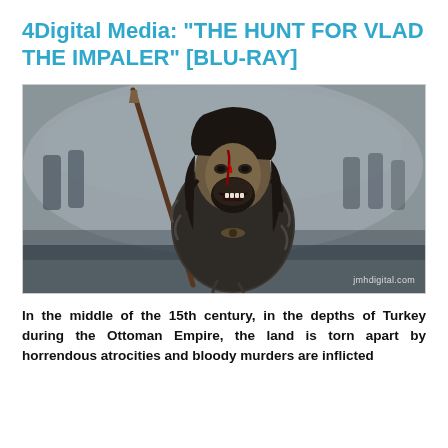4Digital Media: "THE HUNT FOR VLAD THE IMPALER" [BLU-RAY]
[Figure (photo): A fierce warrior character with long dark hair, a bloody face wound, fur-clad clothing, and a spear/staff — a still from the film 'The Hunt for Vlad the Impaler'. Background shows a misty battlefield with soldiers. Watermark: jmhdigital.com]
In the middle of the 15th century, in the depths of Turkey during the Ottoman Empire, the land is torn apart by horrendous atrocities and bloody murders are inflicted